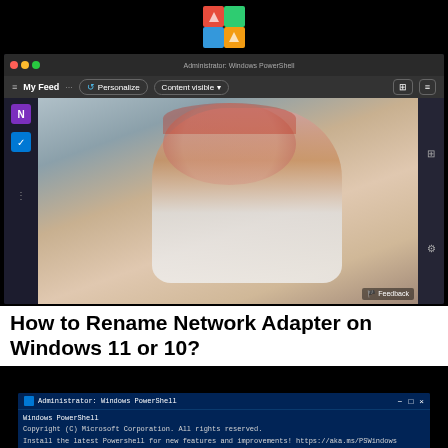[Figure (screenshot): Windows Start/MSN feed browser screenshot showing a woman with red headscarf]
How to Rename Network Adapter on Windows 11 or 10?
[Figure (screenshot): Windows PowerShell window showing Get-NetAdapter | Format-List -Property Name command with output showing Name : Bluetooth Network Connection]
Privacy & Cookies: This site uses cookies. By continuing to use this website, you agree to their use.
[Figure (infographic): Advertisement banner: Just $2 can protect 1 acre of irreplaceable forest homes in the Amazon. How many acres are you willing to protect? PROTECT FORESTS NOW]